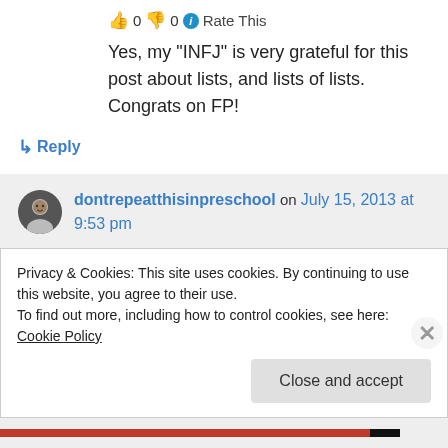👍 0 👎 0 ℹ Rate This
Yes, my “INFJ” is very grateful for this post about lists, and lists of lists. Congrats on FP!
↳ Reply
dontrepeatthisinpreschool on July 15, 2013 at 9:53 pm
👍 0 👎 0 ℹ Rate This
Privacy & Cookies: This site uses cookies. By continuing to use this website, you agree to their use.
To find out more, including how to control cookies, see here: Cookie Policy
Close and accept